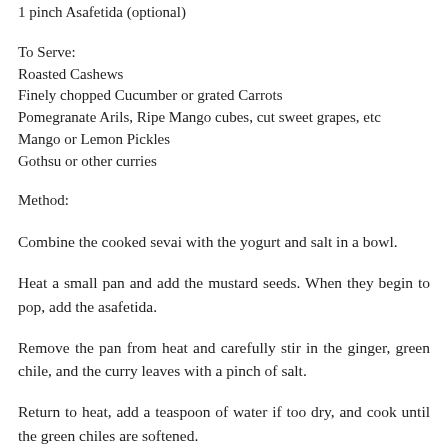1 pinch Asafetida (optional)
To Serve:
Roasted Cashews
Finely chopped Cucumber or grated Carrots
Pomegranate Arils, Ripe Mango cubes, cut sweet grapes, etc
Mango or Lemon Pickles
Gothsu or other curries
Method:
Combine the cooked sevai with the yogurt and salt in a bowl.
Heat a small pan and add the mustard seeds. When they begin to pop, add the asafetida.
Remove the pan from heat and carefully stir in the ginger, green chile, and the curry leaves with a pinch of salt.
Return to heat, add a teaspoon of water if too dry, and cook until the green chiles are softened.